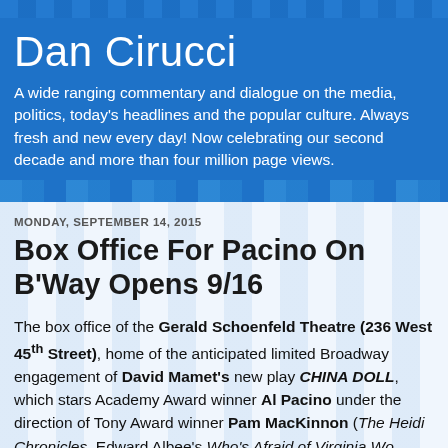Dan Cirucci
A wide ranging commentary and dialogue on the media, politics, today's headlines and the popular culture. Always fresh and new every day! Now celebrating our second decade and more than four million page views.
MONDAY, SEPTEMBER 14, 2015
Box Office For Pacino On B'Way Opens 9/16
The box office of the Gerald Schoenfeld Theatre (236 West 45th Street), home of the anticipated limited Broadway engagement of David Mamet's new play CHINA DOLL, which stars Academy Award winner Al Pacino under the direction of Tony Award winner Pam MacKinnon (The Heidi Chronicles, Edward Albee's Who's Afraid of Virginia Wo...